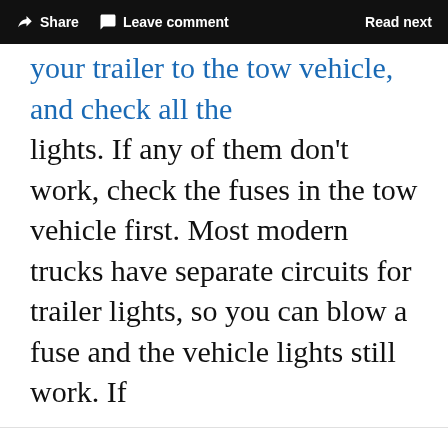Share   Leave comment   Read next
your trailer to the tow vehicle, and check all the lights. If any of them don't work, check the fuses in the tow vehicle first. Most modern trucks have separate circuits for trailer lights, so you can blow a fuse and the vehicle lights still work. If
We use cookies to personalize your experience, to provide social media features and to analyze our traffic. We also share information about your use of our site with our social media, advertising and analytics partners. Cookie Settings
Accept all cookies